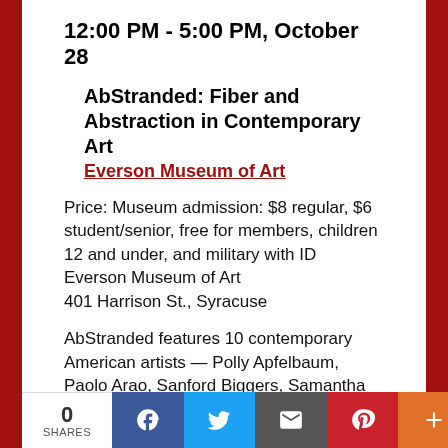12:00 PM - 5:00 PM, October 28
AbStranded: Fiber and Abstraction in Contemporary Art
Everson Museum of Art
Price: Museum admission: $8 regular, $6 student/senior, free for members, children 12 and under, and military with ID
Everson Museum of Art
401 Harrison St., Syracuse
AbStranded features 10 contemporary American artists — Polly Apfelbaum, Paolo Arao, Sanford Biggers, Samantha Bittman, Julia Bland, Rachel B. Hayes, Elana Herzog, Anne Lindberg, Sheila Pepe, and Sarah Zapata — who use fiber-based materials to investigate the complex lineage of
0 SHARES  f  t  email  p  +